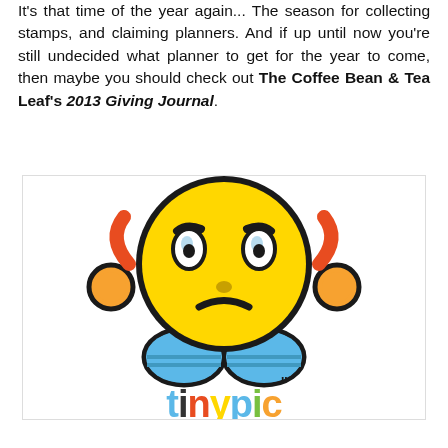It's that time of the year again... The season for collecting stamps, and claiming planners. And if up until now you're still undecided what planner to get for the year to come, then maybe you should check out The Coffee Bean & Tea Leaf's 2013 Giving Journal.
[Figure (illustration): A sad/worried emoji-style cartoon character with yellow round head, furrowed brows, a frown, orange ears with headphone-like attachments, and blue body/arms. Below the character is the 'tinypic' logo in colorful bubble letters.]
This image was lost some time ago...